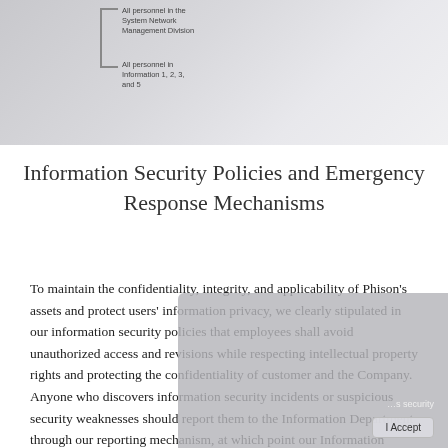[Figure (other): Page header with gradient gray background, bracket line graphic, and two text annotations: 'All personnel in the System Network Management Division' and 'All personnel in Information 1, 2, 3, and 5']
Information Security Policies and Emergency Response Mechanisms
To maintain the confidentiality, integrity, and applicability of Phison's assets and protect users' information privacy, we clearly stipulated in our information security policies that employees shall avoid unauthorized access and revisions while respecting intellectual property rights and protecting the confidentiality of customer and the Company. Anyone who discovers information security incidents or suspicious security weaknesses should report them to the Information Department through our reporting mechanism, at which point our Information Department personnel will conduct proper